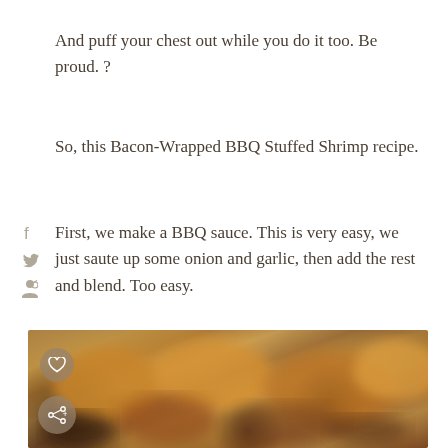And puff your chest out while you do it too. Be proud. ?
So, this Bacon-Wrapped BBQ Stuffed Shrimp recipe.
First, we make a BBQ sauce. This is very easy, we just saute up some onion and garlic, then add the rest and blend. Too easy.
[Figure (photo): Close-up photo of bacon-wrapped BBQ stuffed shrimp, blurred/bokeh effect, warm golden-brown tones with dark caramelized spots, showing grilled seafood dish]